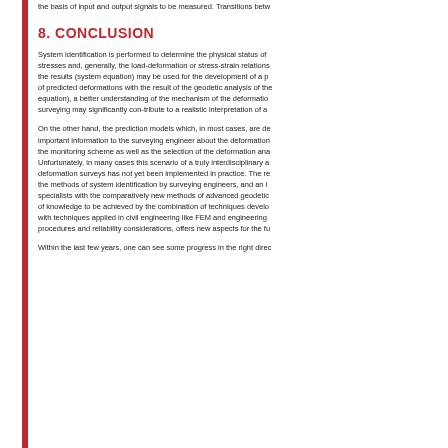the basis of input and output signals to be measured. Transitions betw
8. CONCLUSION
System identification is performed to determine the physical status of stresses and, generally, the load-deformation or stress-strain relations the results (system equation) may be used for the development of a p of predicted deformations with the result of the geodetic analysis of the equation), a better understanding of the mechanism of the deformatio surveying may significantly con-tribute to a realistic interpretation of a
On the other hand, the prediction models which, in most cases, are de important information to the surveying engineer about the deformation the monitoring scheme as well as the selection of the deformation ana Unfortunately, in many cases this scenario of a truly interdisciplinary a deformation surveys has not yet been implemented in practice. The re the methods of system identification by surveying engineers, and an i specialists with the comparatively new methods of advanced geodetic of knowledge to be achieved by the combination of techniques develo with techniques applied in civil engineering like FEM and engineering procedures and reliability considerations, offers new aspects for the fu
Within the last few years, one can see some progress in the right direc